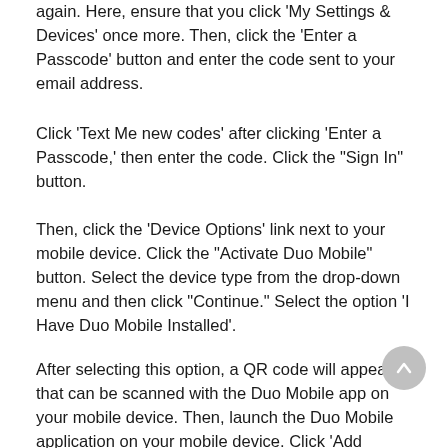again. Here, ensure that you click ‘My Settings & Devices’ once more. Then, click the ‘Enter a Passcode’ button and enter the code sent to your email address.
Click ‘Text Me new codes’ after clicking ‘Enter a Passcode,’ then enter the code. Click the “Sign In” button.
Then, click the ‘Device Options’ link next to your mobile device. Click the “Activate Duo Mobile” button. Select the device type from the drop-down menu and then click “Continue.” Select the option ‘I Have Duo Mobile Installed’.
After selecting this option, a QR code will appear that can be scanned with the Duo Mobile app on your mobile device. Then, launch the Duo Mobile application on your mobile device. Click ‘Add account’ or the plus sign (+) located at the top.
If you are asked, ensure to click “OK” to allow Duo Mobile